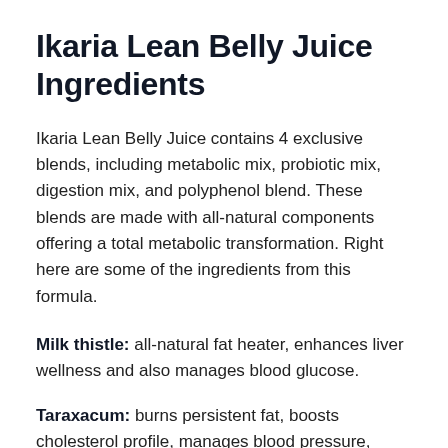Ikaria Lean Belly Juice Ingredients
Ikaria Lean Belly Juice contains 4 exclusive blends, including metabolic mix, probiotic mix, digestion mix, and polyphenol blend. These blends are made with all-natural components offering a total metabolic transformation. Right here are some of the ingredients from this formula.
Milk thistle: all-natural fat heater, enhances liver wellness and also manages blood glucose.
Taraxacum: burns persistent fat, boosts cholesterol profile, manages blood pressure, boosts digestion.